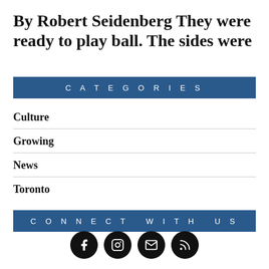By Robert Seidenberg They were ready to play ball. The sides were
CATEGORIES
Culture
Growing
News
Toronto
CONNECT WITH US
[Figure (infographic): Four circular social media icons: Facebook, Instagram, Email, RSS feed]